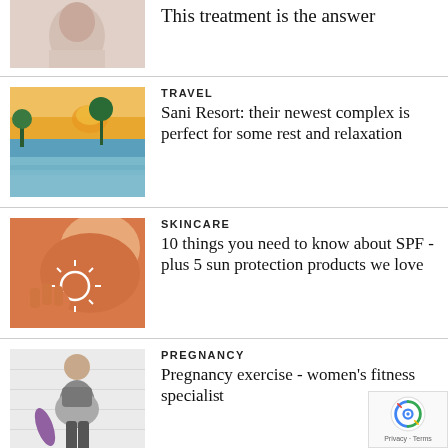[Figure (photo): Cropped photo of a woman's face, beauty/skincare context]
This treatment is the answer
[Figure (photo): Scenic resort pool with trees and sunset sky, travel context]
TRAVEL
Sani Resort: their newest complex is perfect for some rest and relaxation
[Figure (photo): Woman with SPF sunscreen sun drawing on shoulder, skincare context]
SKINCARE
10 things you need to know about SPF - plus 5 sun protection products we love
[Figure (photo): Pregnant woman in fitness wear holding yoga mat, pregnancy context]
PREGNANCY
Pregnancy exercise - women's fitness specialist